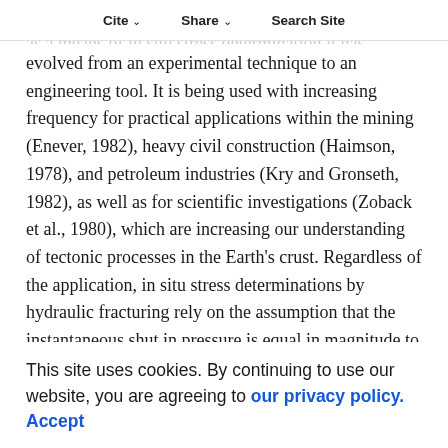Cite   Share   Search Site
Over the years that hydraulic fracturing has been used as a means of in situ stress determination it has evolved from an experimental technique to an engineering tool. It is being used with increasing frequency for practical applications within the mining (Enever, 1982), heavy civil construction (Haimson, 1978), and petroleum industries (Kry and Gronseth, 1982), as well as for scientific investigations (Zoback et al., 1980), which are increasing our understanding of tectonic processes in the Earth's crust. Regardless of the application, in situ stress determinations by hydraulic fracturing rely on the assumption that the instantaneous shut in pressure is equal in magnitude to the stress acting perpendicular to the plane of the induced fracture. While it can be shown experimentally that this assumption is invalid, the instantaneous shut-in pressure is still considered a well defined feature of pressure-time records from hydraulic fracturing experiments.
This site uses cookies. By continuing to use our website, you are agreeing to our privacy policy.
Accept